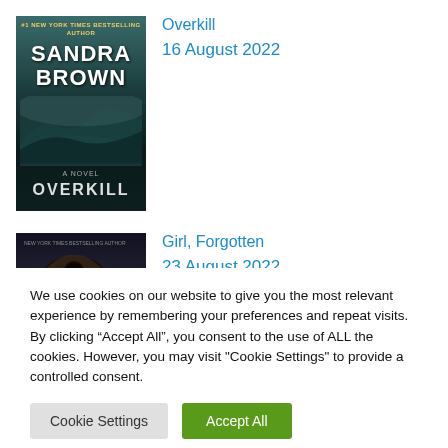[Figure (illustration): Book cover for Overkill by Sandra Brown — dark teal/green cover with misty hills and bold white author name text]
Overkill
16 August 2022
[Figure (illustration): Book cover for Girl, Forgotten — dark cover showing a close-up eye]
Girl, Forgotten
23 August 2022
We use cookies on our website to give you the most relevant experience by remembering your preferences and repeat visits. By clicking “Accept All”, you consent to the use of ALL the cookies. However, you may visit "Cookie Settings" to provide a controlled consent.